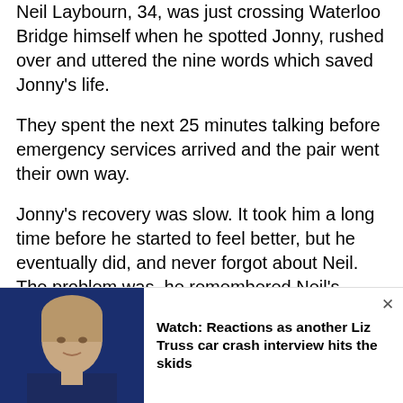Neil Laybourn, 34, was just crossing Waterloo Bridge himself when he spotted Jonny, rushed over and uttered the nine words which saved Jonny's life.
They spent the next 25 minutes talking before emergency services arrived and the pair went their own way.
Jonny's recovery was slow. It took him a long time before he started to feel better, but he eventually did, and never forgot about Neil. The problem was, he remembered Neil's name as Mike.
Launching a #FindMike social media campaign, it soon went viral. Within two weeks – and with the help of the internet – he found Neil.
[Figure (photo): Thumbnail photo of Liz Truss alongside a news alert: Watch: Reactions as another Liz Truss car crash interview hits the skids]